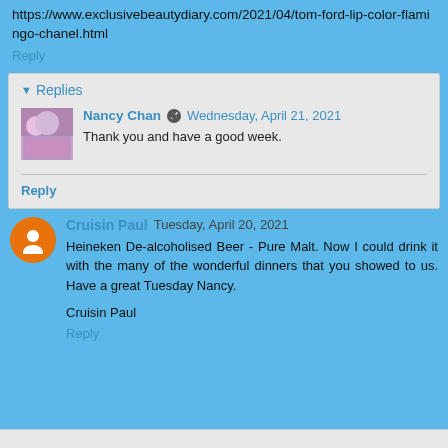https://www.exclusivebeautydiary.com/2021/04/tom-ford-lip-color-flamingo-chanel.html
Reply
Replies
Nancy Chan  Wednesday, April 21, 2021
Thank you and have a good week.
Reply
Cruisin Paul  Tuesday, April 20, 2021
Heineken De-alcoholised Beer - Pure Malt. Now I could drink it with the many of the wonderful dinners that you showed to us. Have a great Tuesday Nancy.

Cruisin Paul
Reply